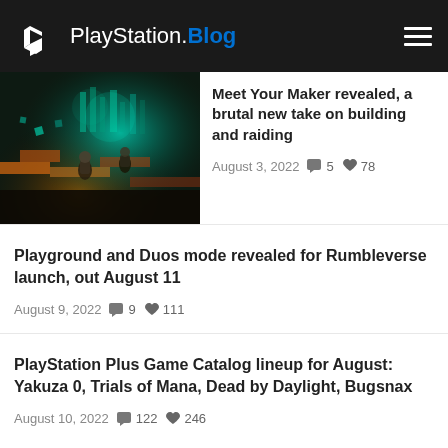PlayStation.Blog
[Figure (photo): Game artwork for Meet Your Maker showing dark sci-fi structures with glowing teal and orange lighting, robot-like figures]
Meet Your Maker revealed, a brutal new take on building and raiding
August 3, 2022  💬 5  ♥ 78
Playground and Duos mode revealed for Rumbleverse launch, out August 11
August 9, 2022  💬 9  ♥ 111
PlayStation Plus Game Catalog lineup for August: Yakuza 0, Trials of Mana, Dead by Daylight, Bugsnax
August 10, 2022  💬 122  ♥ 246